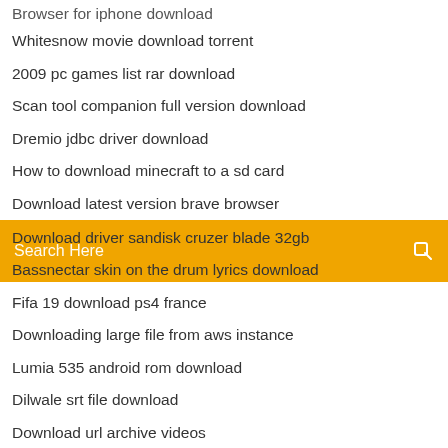Browser for iphone download
Whitesnow movie download torrent
2009 pc games list rar download
Scan tool companion full version download
Dremio jdbc driver download
How to download minecraft to a sd card
Download latest version brave browser
[Figure (screenshot): Orange search bar with 'Search Here' placeholder text and a search icon on the right]
Download driver sandisk cruzer blade 32gb
Bassnectar skin on the drum lyrics download
Fifa 19 download ps4 france
Downloading large file from aws instance
Lumia 535 android rom download
Dilwale srt file download
Download url archive videos
120 days of anal 1995 torrent download
My ps4 disc wont download
Download svg files to brother design n cut
The art of living printer self done download